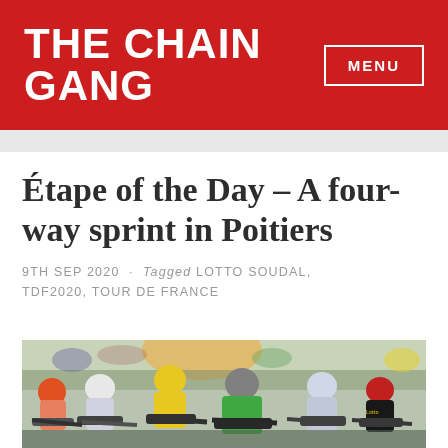THE CHAIN GANG
Étape of the Day – A four-way sprint in Poitiers
9TH SEP 2020 · Tagged LOTTO SOUDAL, TDF2020, TOUR DE FRANCE
[Figure (photo): Cyclists sprinting in a race, multiple riders in colorful jerseys including green, yellow, and red helmets, closely bunched together during a Tour de France stage sprint finish]